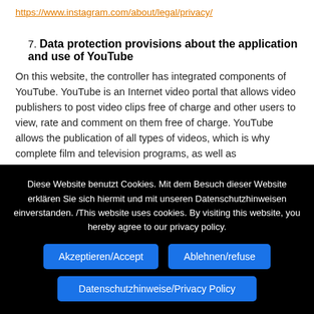https://www.instagram.com/about/legal/privacy/
7. Data protection provisions about the application and use of YouTube
On this website, the controller has integrated components of YouTube. YouTube is an Internet video portal that allows video publishers to post video clips free of charge and other users to view, rate and comment on them free of charge. YouTube allows the publication of all types of videos, which is why complete film and television programs, as well as
Diese Website benutzt Cookies. Mit dem Besuch dieser Website erklären Sie sich hiermit und mit unseren Datenschutzhinweisen einverstanden. /This website uses cookies. By visiting this website, you hereby agree to our privacy policy.
Akzeptieren/Accept
Ablehnen/refuse
Datenschutzhinweise/Privacy Policy